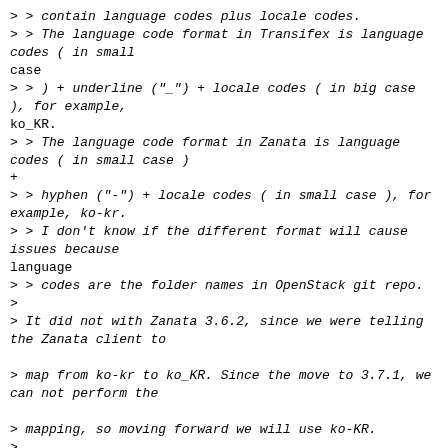> > contain language codes plus locale codes.
> > The language code format in Transifex is language codes ( in small
case
> > ) + underline ("_") + locale codes ( in big case ), for example,
ko_KR.
> > The language code format in Zanata is language codes ( in small case )
+
> > hyphen ("-") + locale codes ( in small case ), for example, ko-kr.
> > I don't know if the different format will cause issues because
language
> > codes are the folder names in OpenStack git repo.
>
> It did not with Zanata 3.6.2, since we were telling the Zanata client to

> map from ko-kr to ko_KR. Since the move to 3.7.1, we can not perform the

> mapping, so moving forward we will use ko-KR.
>
> > Refer to Horizon repo [1].
> > Please help to verify that.
> >
> > Besides the format differences, I also notice some languages are
missed.